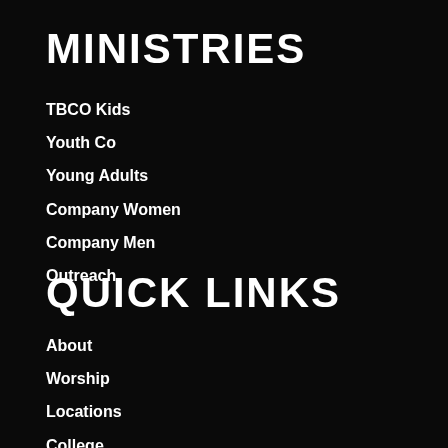MINISTRIES
TBCO Kids
Youth Co
Young Adults
Company Women
Company Men
Outreach
QUICK LINKS
About
Worship
Locations
College
Conference
Church Online